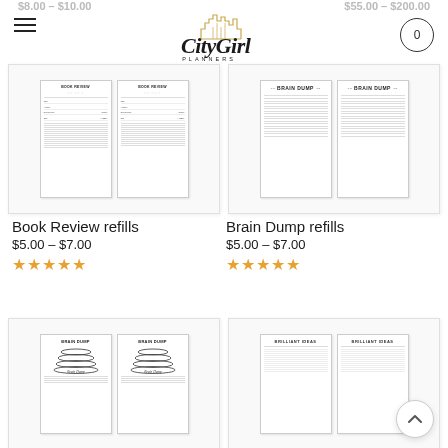City Girl Planners
$8.00 – $10.00   $55.00 – $200.00
[Figure (illustration): Book Review refills product showing two pages side by side]
[Figure (illustration): Brain Dump refills product showing two pages side by side]
Book Review refills
$5.00 – $7.00
★★★★★
Brain Dump refills
$5.00 – $7.00
★★★★★
[Figure (illustration): Brain Dump refills second row product image]
[Figure (illustration): Brilliant Ideas product image two pages side by side]